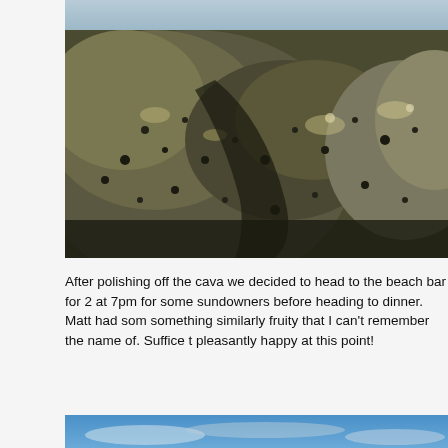[Figure (photo): Close-up photograph of rough, textured coastal rocks with dark and light mottled patterns, algae and encrustation visible on the surface.]
After polishing off the cava we decided to head to the beach bar for 2 at 7pm for some sundowners before heading to dinner. Matt had som something similarly fruity that I can't remember the name of. Suffice t pleasantly happy at this point!
[Figure (photo): Partial photograph showing blue sky with wispy clouds, cropped at the bottom of the page.]